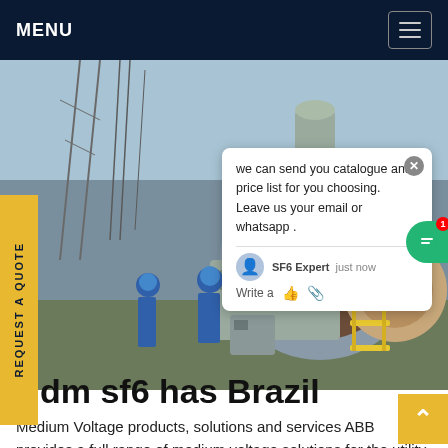MENU
[Figure (photo): Workers in blue uniforms and hard hats at an electrical substation with large industrial equipment and transformers]
REQUEST A QUOTE
we can send you catalogue and price list for you choosing.
Leave us your email or whatsapp .

SF6 Expert   just now
Write a
dm sf6 has Brazil
Medium Voltage products, solutions and services ABB provides a full range of medium voltage solutions for the utility, industrial and commercial